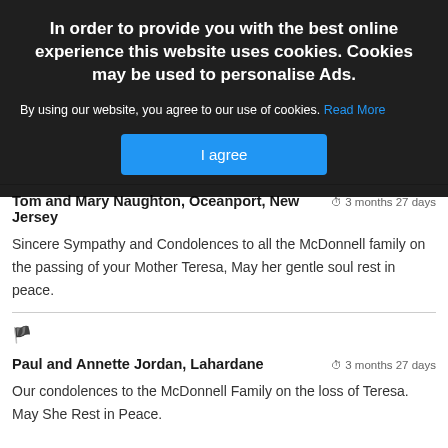In order to provide you with the best online experience this website uses cookies. Cookies may be used to personalise Ads.
By using our website, you agree to our use of cookies. Read More
I agree
Tom and Mary Naughton, Oceanport, New Jersey
3 months 27 days
Sincere Sympathy and Condolences to all the McDonnell family on the passing of your Mother Teresa, May her gentle soul rest in peace.
Paul and Annette Jordan, Lahardane
3 months 27 days
Our condolences to the McDonnell Family on the loss of Teresa. May She Rest in Peace.